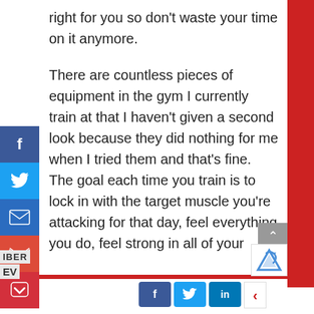right for you so don't waste your time on it anymore.
There are countless pieces of equipment in the gym I currently train at that I haven't given a second look because they did nothing for me when I tried them and that's fine. The goal each time you train is to lock in with the target muscle you're attacking for that day, feel everything you do, feel strong in all of your